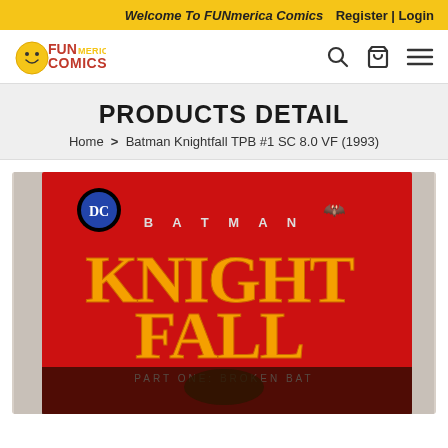Welcome To FUNmerica Comics | Register | Login
[Figure (logo): FUNmerica Comics logo with yellow smiley face, red and yellow text]
PRODUCTS DETAIL
Home > Batman Knightfall TPB #1 SC 8.0 VF (1993)
[Figure (photo): Batman Knightfall TPB #1 SC comic book cover showing red background with large yellow KNIGHTFALL text and DC Comics logo, Part One: Broken Bat]